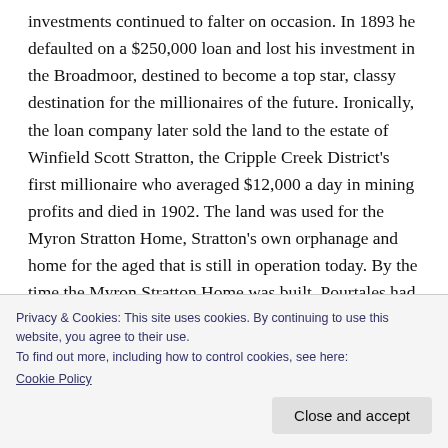investments continued to falter on occasion. In 1893 he defaulted on a $250,000 loan and lost his investment in the Broadmoor, destined to become a top star, classy destination for the millionaires of the future. Ironically, the loan company later sold the land to the estate of Winfield Scott Stratton, the Cripple Creek District's first millionaire who averaged $12,000 a day in mining profits and died in 1902. The land was used for the Myron Stratton Home, Stratton's own orphanage and home for the aged that is still in operation today. By the time the Myron Stratton Home was built, Pourtales had returned to his native land, where he died in 1908. His departure from the Pikes Peak region was surely final, but a good
Privacy & Cookies: This site uses cookies. By continuing to use this website, you agree to their use.
To find out more, including how to control cookies, see here:
Cookie Policy
Close and accept